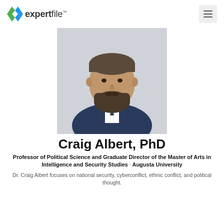expertfile
[Figure (photo): Professional headshot of Craig Albert, PhD — a man with a beard wearing a navy suit and tie, arms crossed, against a light background.]
Craig Albert, PhD
Professor of Political Science and Graduate Director of the Master of Arts in Intelligence and Security Studies · Augusta University
Dr. Craig Albert focuses on national security, cyberconflict, ethnic conflict, and political thought.